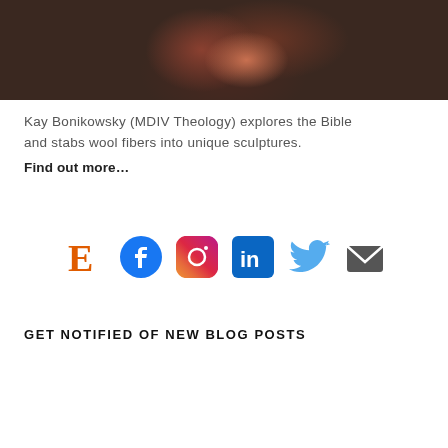[Figure (photo): Close-up photo of a person with curly reddish-brown hair, wearing a dark jacket, cropped to show only the top of the head and hair.]
Kay Bonikowsky (MDIV Theology) explores the Bible and stabs wool fibers into unique sculptures. Find out more…
[Figure (infographic): A row of six social media icons: Etsy (orange E), Facebook (blue circle with f), Instagram (pink/purple rounded square camera icon), LinkedIn (blue square with in), Twitter (light blue bird), Mail (dark grey envelope).]
GET NOTIFIED OF NEW BLOG POSTS